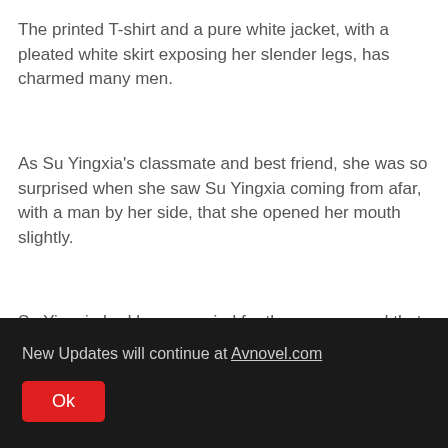The printed T-shirt and a pure white jacket, with a pleated white skirt exposing her slender legs, has charmed many men.
As Su Yingxia's classmate and best friend, she was so surprised when she saw Su Yingxia coming from afar, with a man by her side, that she opened her mouth slightly.
Su Yingxia had been married for three years, and that legendary son-in-law she had only seen once at the wedding, and today Su Yingxia had even brought him out.
New Updates will continue at Avnovel.com
Ok